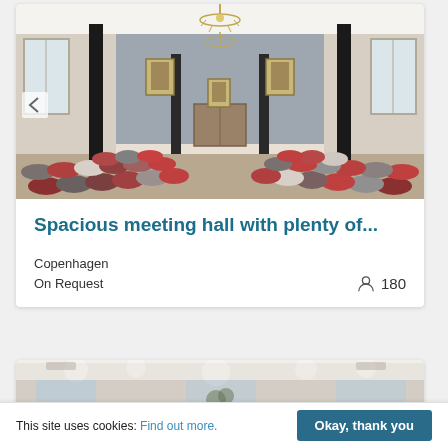[Figure (photo): Interior of a spacious meeting hall with rows of upholstered chairs in red, grey and white arranged in theatre style, black columns, chandelier, portraits on grey walls, double doors at the end]
Spacious meeting hall with plenty of...
Copenhagen
On Request    180
[Figure (photo): Partial view of another venue interior with decorative ceiling and windows]
This site uses cookies: Find out more.  Okay, thank you